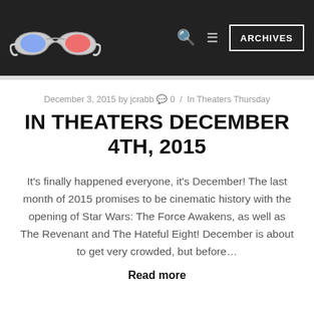3D Glasses logo | ARCHIVES
December 3, 2015 by jcrabb 0 / In Theaters Thursday
IN THEATERS DECEMBER 4TH, 2015
It's finally happened everyone, it's December! The last month of 2015 promises to be cinematic history with the opening of Star Wars: The Force Awakens, as well as The Revenant and The Hateful Eight! December is about to get very crowded, but before…
Read more